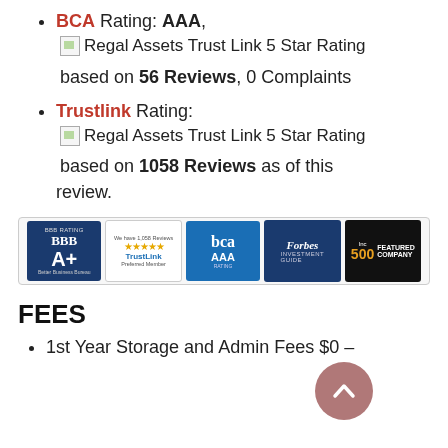BCA Rating: AAA, [image: Regal Assets Trust Link 5 Star Rating] based on 56 Reviews, 0 Complaints
Trustlink Rating: [image: Regal Assets Trust Link 5 Star Rating] based on 1058 Reviews as of this review.
[Figure (illustration): Row of trust badges: BBB A+ Rating, TrustLink Preferred Member, BCA AAA Rating, Forbes Investment Guide, Inc 500 Featured Company]
FEES
1st Year Storage and Admin Fees $0 –